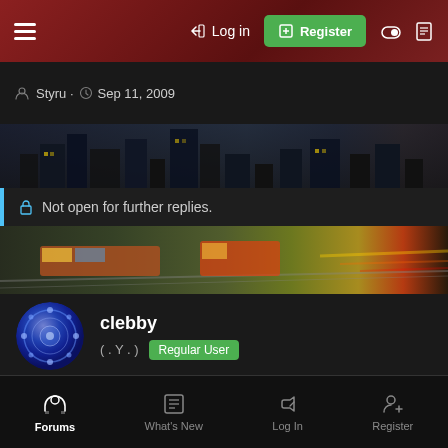Log in | Register
Styru · Sep 11, 2009
Not open for further replies.
clebby
(.Y.) Regular User
Sep 13, 2009  #16
Re: 'Explorers' infiltrate town's derelict dairy - South Devon Herald Express. 11:09:
Forums | What's New | Log In | Register